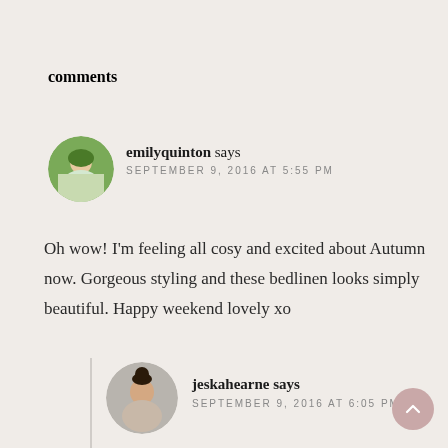comments
[Figure (photo): Circular avatar photo of emilyquinton, a woman in a floral top outdoors with green background]
emilyquinton says
SEPTEMBER 9, 2016 AT 5:55 PM
Oh wow! I'm feeling all cosy and excited about Autumn now. Gorgeous styling and these bedlinen looks simply beautiful. Happy weekend lovely xo
[Figure (photo): Circular avatar photo of jeskahearne, a woman with dark hair in a bun]
jeskahearne says
SEPTEMBER 9, 2016 AT 6:05 PM